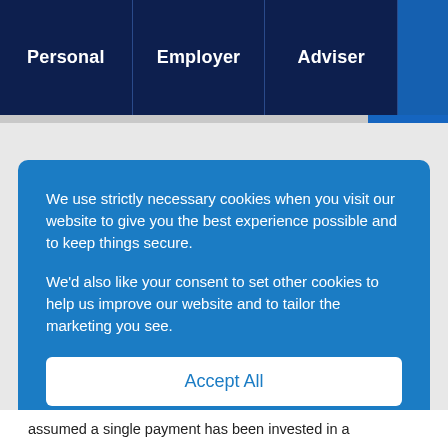Personal | Employer | Adviser
We use strictly necessary cookies when you visit our website to give you the best experience possible and to keep things secure.
We'd also like your consent to set other cookies to help us improve our website and to tailor the marketing you see.
Accept All
Decline All
Manage settings
assumed a single payment has been invested in a